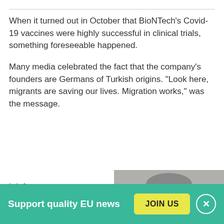When it turned out in October that BioNTech's Covid-19 vaccines were highly successful in clinical trials, something foreseeable happened.
Many media celebrated the fact that the company's founders are Germans of Turkish origins. "Look here, migrants are saving our lives. Migration works," was the message.
It left me uneasy.
I understand that the German-Turkish
[Figure (photo): Black and white portrait photo of a man with glasses and short hair]
Support quality EU news
JOIN US